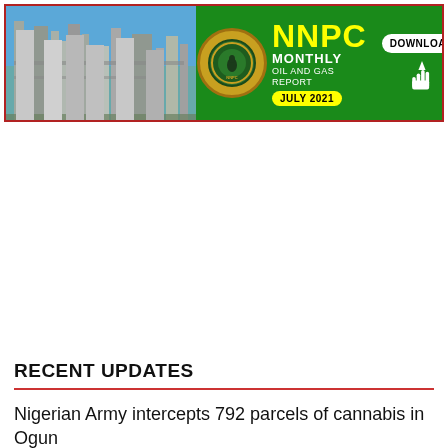[Figure (infographic): NNPC Monthly Oil and Gas Report - July 2021 banner advertisement with download button, showing industrial refinery photo on left, NNPC logo in center, and green background with yellow NNPC text]
RECENT UPDATES
Nigerian Army intercepts 792 parcels of cannabis in Ogun